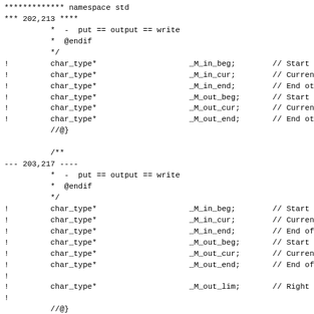************* namespace std
*** 202,213 ****
          *  -  put == output == write
          *  @endif
          */
!         char_type*                    _M_in_beg;        // Start
!         char_type*                    _M_in_cur;        // Curren
!         char_type*                    _M_in_end;        // End ot
!         char_type*                    _M_out_beg;       // Start
!         char_type*                    _M_out_cur;       // Curren
!         char_type*                    _M_out_end;       // End ot
          //@}

          /**
--- 203,217 ----
          *  -  put == output == write
          *  @endif
          */
!         char_type*                    _M_in_beg;        // Start o
!         char_type*                    _M_in_cur;        // Current
!         char_type*                    _M_in_end;        // End of
!         char_type*                    _M_out_beg;       // Start o
!         char_type*                    _M_out_cur;       // Current
!         char_type*                    _M_out_end;       // End of
!
!         char_type*                    _M_out_lim;       // Right
!
          //@}

          /**